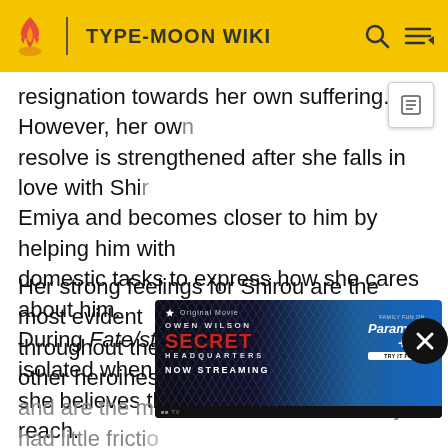TYPE-MOON WIKI
resignation towards her own suffering. However, her own resolve is strengthened after she falls in love with Shiro Emiya and becomes closer to him by helping him with domestic tasks to express how she cares about him. During Fate/stay-night, she begins to feel isolated when she believes that Shirou is beyond her reach.
Her strong feelings for Shirou are the most evident throughout the series compared to the other heroines; and are the main reason as to how they had little friction in desire... es her believe... by Shirou... come with strong jealousy whenever he compliments or spends
[Figure (screenshot): Advertisement overlay for 'Secret Headquarters' Owen Wilson movie on Paramount+, now streaming. Dark background with hexagonal pattern.]